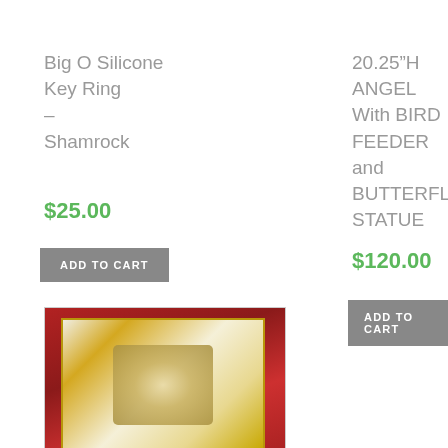Big O Silicone Key Ring – Shamrock
$25.00
ADD TO CART
20.25"H ANGEL With BIRD FEEDER and BUTTERFLY STATUE
$120.00
ADD TO CART
[Figure (photo): Angel plaque with gold accents on red satin background]
[Figure (photo): Small product image with scroll-to-top button overlay]